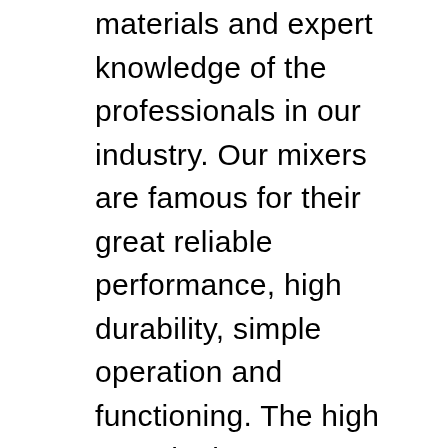materials and expert knowledge of the professionals in our industry. Our mixers are famous for their great reliable performance, high durability, simple operation and functioning. The high speed mixers are simple to install and operate by the workers and do not require high skills to operate the machine.